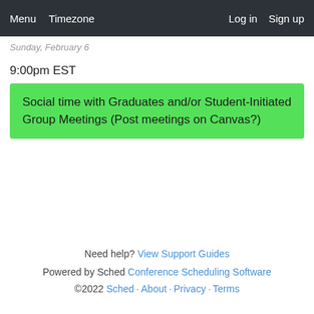Menu  Timezone  Log in  Sign up
Sunday, February 6
9:00pm EST
Social time with Graduates and/or Student-Initiated Group Meetings (Post meetings on Canvas?)
Need help? View Support Guides
Powered by Sched Conference Scheduling Software
©2022 Sched · About · Privacy · Terms